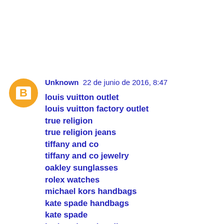[Figure (illustration): Orange circular Blogger avatar icon with a white 'B' letter in the center]
Unknown 22 de junio de 2016, 8:47
louis vuitton outlet
louis vuitton factory outlet
true religion
true religion jeans
tiffany and co
tiffany and co jewelry
oakley sunglasses
rolex watches
michael kors handbags
kate spade handbags
kate spade
louis vuitton handbags
louis vuitton bags
holliste sale